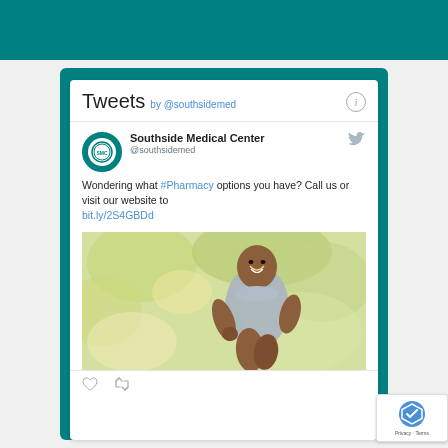[Figure (screenshot): A Twitter/Tweets widget embedded in a teal-bordered card. The widget shows 'Tweets by @southsidemed' header, a tweet from Southside Medical Center (@southsidemed) reading 'Wondering what #Pharmacy options you have? Call us or visit our website to bit.ly/2S4GBDd', with an image of a smiling middle-aged man jogging outdoors. There is a reCAPTCHA badge and Privacy/Terms text overlay at the bottom right.]